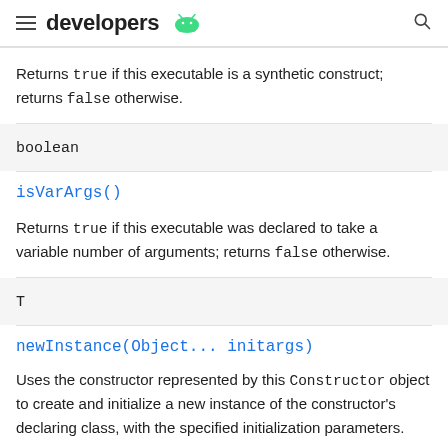developers
Returns true if this executable is a synthetic construct; returns false otherwise.
boolean
isVarArgs()
Returns true if this executable was declared to take a variable number of arguments; returns false otherwise.
T
newInstance(Object... initargs)
Uses the constructor represented by this Constructor object to create and initialize a new instance of the constructor's declaring class, with the specified initialization parameters.